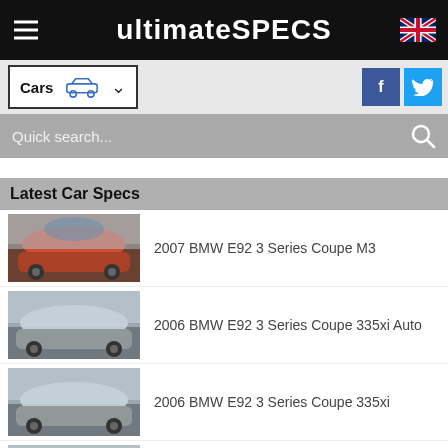ultimateSPECS
Cars
Quick search...
Latest Car Specs
2007 BMW E92 3 Series Coupe M3
2006 BMW E92 3 Series Coupe 335xi Auto
2006 BMW E92 3 Series Coupe 335xi
2007 BMW E92 3 Series Coupe 330xi Auto
2006 BMW E92 3 Series Coupe 330xi Auto